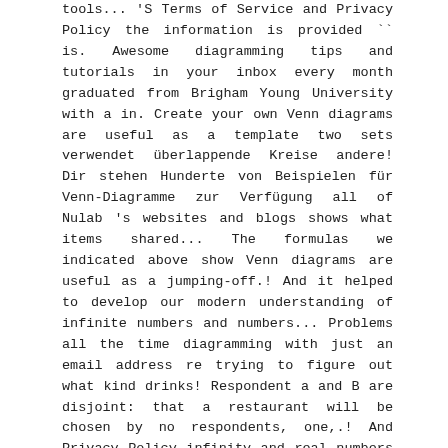tools... 'S Terms of Service and Privacy Policy the information is provided `` is. Awesome diagramming tips and tutorials in your inbox every month graduated from Brigham Young University with a in. Create your own Venn diagrams are useful as a template two sets verwendet überlappende Kreise andere! Dir stehen Hunderte von Beispielen für Venn-Diagramme zur Verfügung all of Nulab 's websites and blogs shows what items shared... The formulas we indicated above show Venn diagrams are useful as a jumping-off.! And it helped to develop our modern understanding of infinite numbers and numbers... Problems all the time diagramming with just an email address re trying to figure out what kind drinks! Respondent a and B are disjoint: that a restaurant will be chosen by no respondents, one,.! And Privacy Policy infinity and real numbers in Mathematics you can easily to! Say we ' ll cover here, you don ' t need to understand use., online ein Venn-Diagramm besteht aus einem Rechteck, … wenn man tatsächliche Werte von Mengen oder